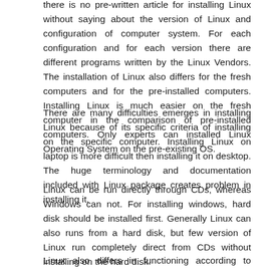there is no pre-written article for installing Linux without saying about the version of Linux and configuration of computer system. For each configuration and for each version there are different programs written by the Linux Vendors. The installation of Linux also differs for the fresh computers and for the pre-installed computers. Installing Linux is much easier on the fresh computer in the comparison of pre-installed computers. Only experts can installed Linux Operating System on the pre-existing OS.
There are many difficulties emerges in installing Linux because of its specific criteria of installing on the specific computer. Installing Linux on laptop is more difficult then installing it on desktop. The huge terminology and documentation included with Linux package creates problem in installing it.
Linux can be run directly through CDs, whereas Windows can not. For installing windows, hard disk should be installed first. Generally Linux can also runs from a hard disk, but few version of Linux run completely direct from CDs without installing on the hard disk.
Linux also differs in functioning according to hardware